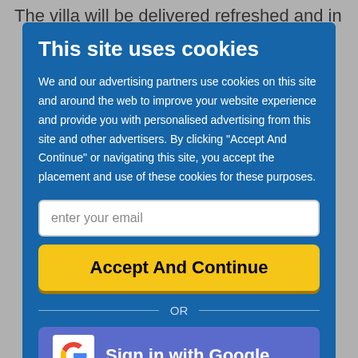The villa will be delivered refreshed and in
This site uses cookies
We and our advertising partners use cookies on this site and around the web to improve your website experience and provide you with personalised advertising from this site and other advertisers. By clicking "Accept And Continue" or navigating this site, you accept the placement and use of these cookies for these purposes.
enter your email
Accept And Continue
OR
Sign in with Google